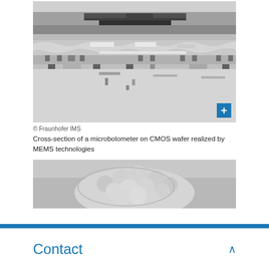[Figure (photo): Scanning electron microscope (SEM) cross-section image of a microbolometer on CMOS wafer realized by MEMS technologies. Grayscale image showing layered microstructure with suspended bridge-like elements and interconnects visible in cross-section.]
© Fraunhofer IMS
Cross-section of a microbolometer on CMOS wafer realized by MEMS technologies
[Figure (photo): Scanning electron microscope (SEM) image showing a rounded, textured microstructure with a bumpy, brain-like surface in grayscale.]
Contact